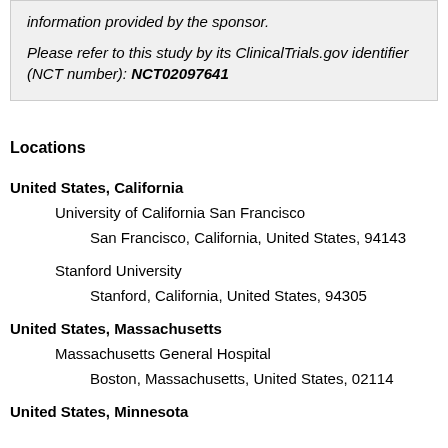information provided by the sponsor.

Please refer to this study by its ClinicalTrials.gov identifier (NCT number): NCT02097641
Locations
United States, California
University of California San Francisco
San Francisco, California, United States, 94143
Stanford University
Stanford, California, United States, 94305
United States, Massachusetts
Massachusetts General Hospital
Boston, Massachusetts, United States, 02114
United States, Minnesota